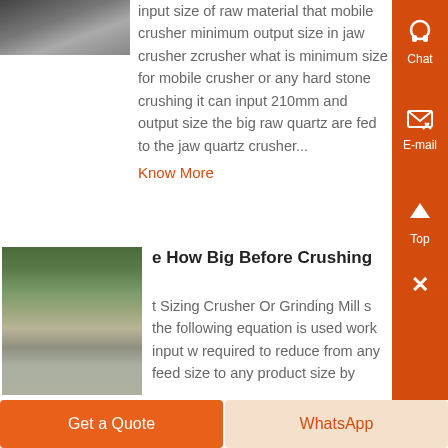[Figure (photo): Aerial/machinery photo at top left, partially cropped]
mobile crusher minimum output size in jaw crusher zcrusher what is minimum size for mobile crusher or any hard stone crushing it can input 210mm and output size the big raw quartz are fed to the jaw quartz crusher...
Know More
e How Big Before Crushing
[Figure (photo): Outdoor quarry/mining site with trees, machinery, and gravel piles]
t Sizing Crusher Or Grinding Mill s the following equation is used work input w required to reduce from any feed size to any product size by
Get a Quote
WhatsApp